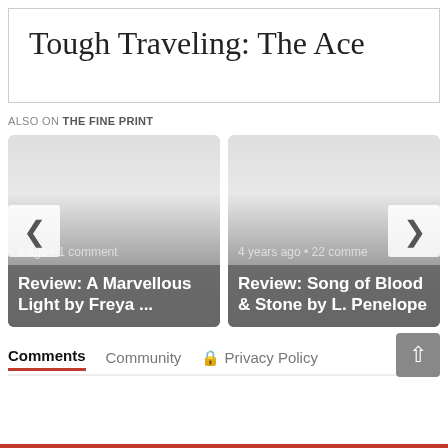Tough Traveling: The Ace
ALSO ON THE FINE PRINT
[Figure (screenshot): Two article preview cards side by side. Left card: 's ago · 1 comment — Review: A Marvellous Light by Freya ...  Right card: 4 years ago · 22 comments — Review: Song of Blood & Stone by L. Penelope. Navigation arrows on left and right sides.]
Comments   Community   Privacy Policy